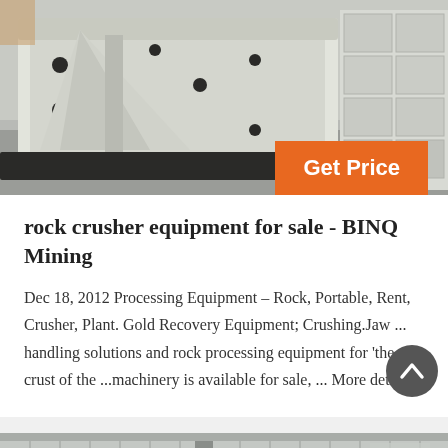[Figure (photo): Industrial rock crusher equipment photographed in a facility, showing white/cream colored heavy metal jaw crusher machinery with black base, viewed from the side and front]
rock crusher equipment for sale - BINQ Mining
Dec 18, 2012 Processing Equipment – Rock, Portable, Rent, Crusher, Plant. Gold Recovery Equipment; Crushing.Jaw ... handling solutions and rock processing equipment for 'the crust of the ...machinery is available for sale, ... More detailed
[Figure (photo): Second industrial equipment photo, partially visible at bottom of page showing interior of a building or facility with equipment]